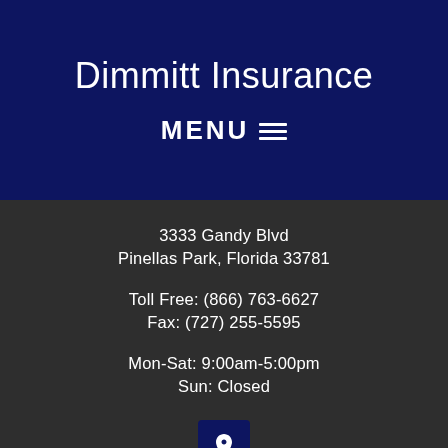Dimmitt Insurance
MENU ☰
3333 Gandy Blvd
Pinellas Park, Florida 33781
Toll Free: (866) 763-6627
Fax: (727) 255-5595
Mon-Sat: 9:00am-5:00pm
Sun: Closed
[Figure (illustration): Location pin icon on dark navy blue square button]